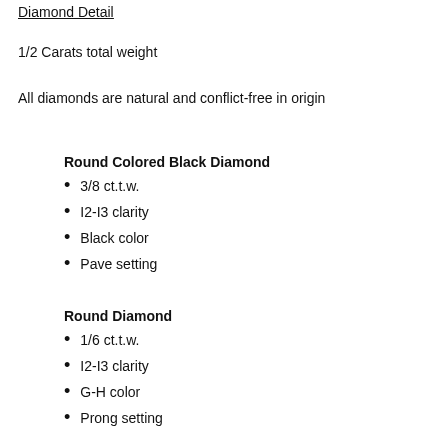Diamond Detail
1/2 Carats total weight
All diamonds are natural and conflict-free in origin
Round Colored Black Diamond
3/8 ct.t.w.
I2-I3 clarity
Black color
Pave setting
Round Diamond
1/6 ct.t.w.
I2-I3 clarity
G-H color
Prong setting